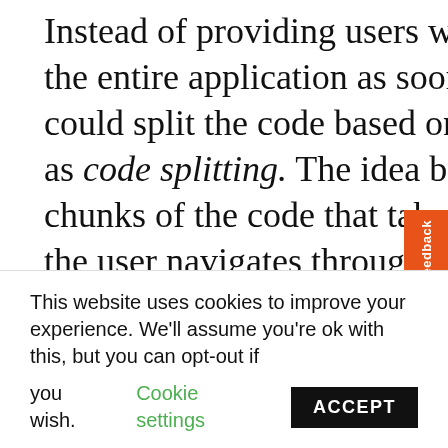Instead of providing users with all of the code that makes up the entire application as soon as they land on a site you could split the code based on used routes, otherwise known as code splitting. The idea behind it is to give the user small chunks of the code that takes the currently used route. As the user navigates through the site, the browser makes additional requests for more of the fragments of code that haven't been cached yet, and creates required views, known as lazy loading. This is another feature that you could implement yourself, but it may be
This website uses cookies to improve your experience. We'll assume you're ok with this, but you can opt-out if you wish. Cookie settings ACCEPT